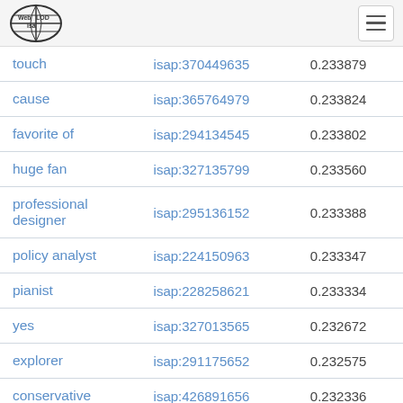Web isa LOD
| touch | isap:370449635 | 0.233879 |
| cause | isap:365764979 | 0.233824 |
| favorite of | isap:294134545 | 0.233802 |
| huge fan | isap:327135799 | 0.233560 |
| professional designer | isap:295136152 | 0.233388 |
| policy analyst | isap:224150963 | 0.233347 |
| pianist | isap:228258621 | 0.233334 |
| yes | isap:327013565 | 0.232672 |
| explorer | isap:291175652 | 0.232575 |
| conservative | isap:426891656 | 0.232336 |
| jack | isap:204649860 | 0.232232 |